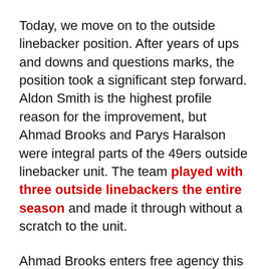Today, we move on to the outside linebacker position. After years of ups and downs and questions marks, the position took a significant step forward. Aldon Smith is the highest profile reason for the improvement, but Ahmad Brooks and Parys Haralson were integral parts of the 49ers outside linebacker unit. The team played with three outside linebackers the entire season and made it through without a scratch to the unit.
Ahmad Brooks enters free agency this year and represented a pretty important piece of the 49ers puzzle this past year. The team could be looking to go with Aldon Smith and Parys Haralson as their every-down linebackers, but it is also possible after this past season they will look to lock up Brooks at whatever premium it might cost. No position will be harder to